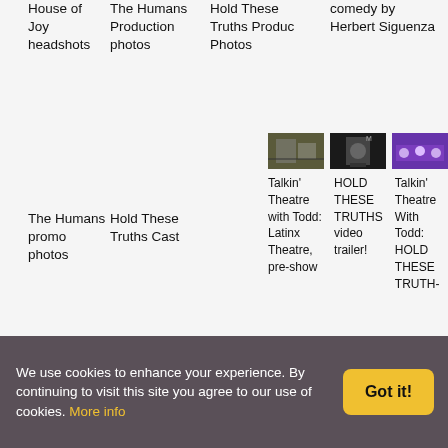House of Joy headshots
The Humans Production photos
Hold These Truths Produc Photos
comedy by Herbert Siguenza
The Humans promo photos
Hold These Truths Cast
[Figure (photo): Thumbnail image - Talkin Theatre stage scene]
[Figure (photo): Thumbnail image - HOLD THESE TRUTHS video]
[Figure (photo): Thumbnail image - Talkin Theatre purple stage scene]
Talkin' Theatre with Todd: Latinx Theatre, pre-show
HOLD THESE TRUTHS video trailer!
Talkin' Theatre With Todd: HOLD THESE TRUTH-
We use cookies to enhance your experience. By continuing to visit this site you agree to our use of cookies. More info